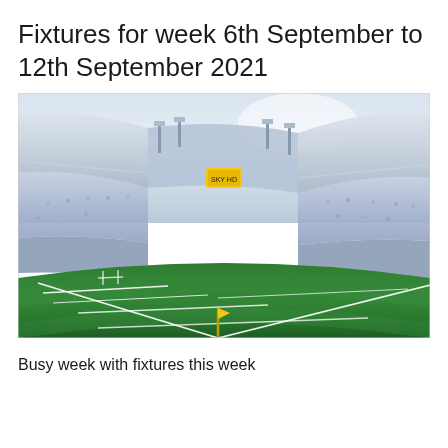Fixtures for week 6th September to 12th September 2021
[Figure (photo): Wide-angle interior view of a large GAA stadium (Croke Park), showing the green pitch with white line markings and a yellow corner flag in the foreground, curved stands with blue/grey seating, and a bright sky above.]
Busy week with fixtures this week